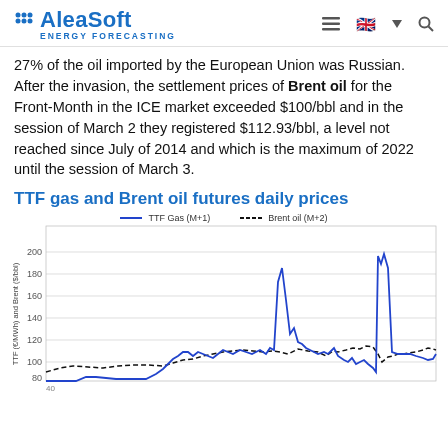AleaSoft ENERGY FORECASTING
27% of the oil imported by the European Union was Russian. After the invasion, the settlement prices of Brent oil for the Front-Month in the ICE market exceeded $100/bbl and in the session of March 2 they registered $112.93/bbl, a level not reached since July of 2014 and which is the maximum of 2022 until the session of March 3.
TTF gas and Brent oil futures daily prices
[Figure (line-chart): Line chart showing TTF Gas M+1 (blue solid) and Brent oil M+2 (black dashed) daily prices over time. TTF Gas spikes to ~180 at one point and ~165 near the end. Brent oil rises from ~70 to ~110. Y-axis from 40 to 200.]